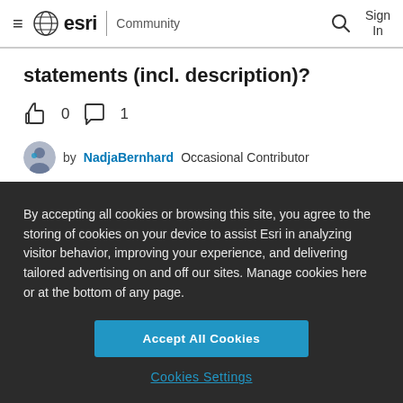esri Community
statements (incl. description)?
0 likes, 1 comment
by NadjaBernhard Occasional Contributor
By accepting all cookies or browsing this site, you agree to the storing of cookies on your device to assist Esri in analyzing visitor behavior, improving your experience, and delivering tailored advertising on and off our sites. Manage cookies here or at the bottom of any page.
Accept All Cookies
Cookies Settings